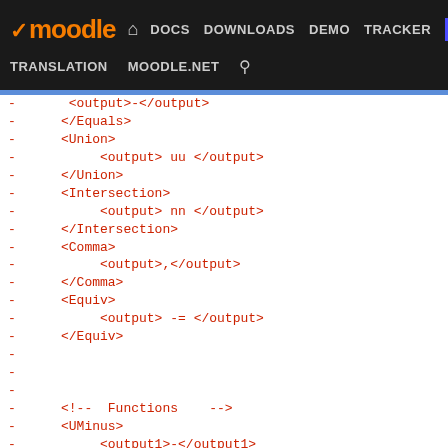moodle | DOCS | DOWNLOADS | DEMO | TRACKER | DEV | TRANSLATION | MOODLE.NET
- <output>-</output>
- </Equals>
- <Union>
- <output> uu </output>
- </Union>
- <Intersection>
- <output> nn </output>
- </Intersection>
- <Comma>
- <output>,</output>
- </Comma>
- <Equiv>
- <output> -= </output>
- </Equiv>
- 
- 
- 
- <!-- Functions -->
- <UMinus>
- <output1>-</output1>
- <output2></output2>
- </UMinus>
- <Factorial brackets="false">
- <output1>(</output1>
- <output2>)!</output2>
- </Factorial>
- <NaturalLogarithm>